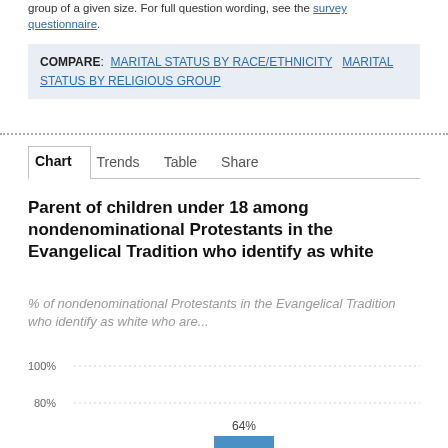group of a given size. For full question wording, see the survey questionnaire.
COMPARE: MARITAL STATUS BY RACE/ETHNICITY  MARITAL STATUS BY RELIGIOUS GROUP
Chart  Trends  Table  Share
Parent of children under 18 among nondenominational Protestants in the Evangelical Tradition who identify as white
% of nondenominational Protestants in the Evangelical Tradition who identify as white who are...
[Figure (bar-chart): Bar chart partially shown, y-axis shows 100% and 80% gridlines, a bar reaching 64% is visible at the bottom]